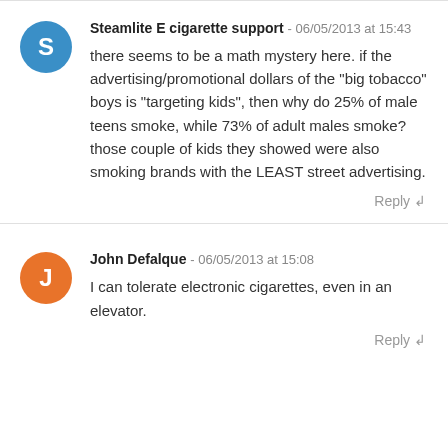Steamlite E cigarette support - 06/05/2013 at 15:43
there seems to be a math mystery here. if the advertising/promotional dollars of the "big tobacco" boys is "targeting kids", then why do 25% of male teens smoke, while 73% of adult males smoke? those couple of kids they showed were also smoking brands with the LEAST street advertising.
Reply
John Defalque - 06/05/2013 at 15:08
I can tolerate electronic cigarettes, even in an elevator.
Reply